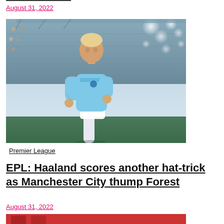August 31, 2022
[Figure (photo): Erling Haaland in Manchester City light blue kit running on the pitch with stadium lights and crowd in background]
Premier League
EPL: Haaland scores another hat-trick as Manchester City thump Forest
August 31, 2022
[Figure (photo): Partial view of another football match photo at the bottom of the page]